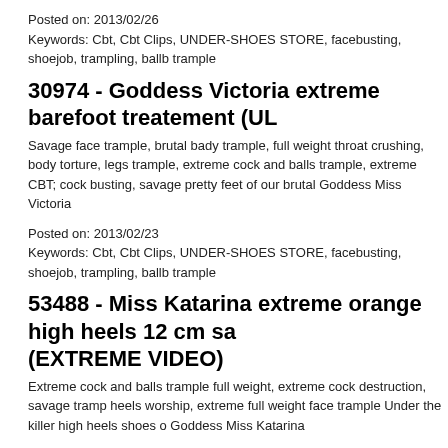Posted on: 2013/02/26
Keywords: Cbt, Cbt Clips, UNDER-SHOES STORE, facebusting, shoejob, trampling, ballb trample
30974 - Goddess Victoria extreme barefoot treatement (UL
Savage face trample, brutal bady trample, full weight throat crushing, body torture, legs trample, extreme cock and balls trample, extreme CBT; cock busting, savage pretty feet of our brutal Goddess Miss Victoria
Posted on: 2013/02/23
Keywords: Cbt, Cbt Clips, UNDER-SHOES STORE, facebusting, shoejob, trampling, ballb trample
53488 - Miss Katarina extreme orange high heels 12 cm sa (EXTREME VIDEO)
Extreme cock and balls trample full weight, extreme cock destruction, savage tramp heels worship, extreme full weight face trample Under the killer high heels shoes o Goddess Miss Katarina
Posted on: 2013/02/22
Keywords: Cbt, Cbt Clips, UNDER-SHOES STORE, facebusting, shoejob, trampling, ballb trample
70123 - Miss Katarina extreme sharp high heels punishem VIDEO)
Extreme full body trample, savage face trample, extreme body torture, brutal full we throat crushing, brutal cock and balls stomping, full weight head trample, extreme c weight cock trample, extreme cock torture Under the killer sharp high heels of our e Miss Katarina